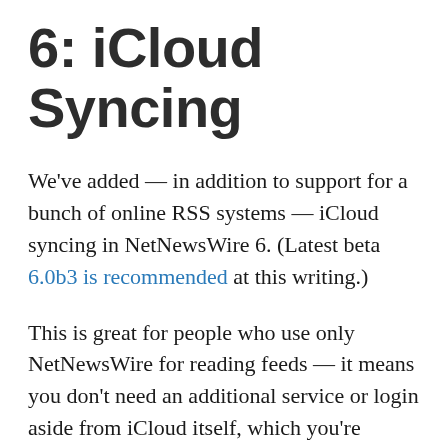6: iCloud Syncing
We've added — in addition to support for a bunch of online RSS systems — iCloud syncing in NetNewsWire 6. (Latest beta 6.0b3 is recommended at this writing.)
This is great for people who use only NetNewsWire for reading feeds — it means you don't need an additional service or login aside from iCloud itself, which you're almost certainly already using.